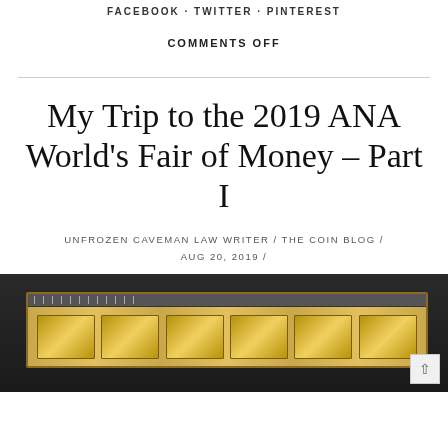FACEBOOK · TWITTER · PINTEREST
COMMENTS OFF
My Trip to the 2019 ANA World's Fair of Money – Part I
UNFROZEN CAVEMAN LAW WRITER / THE COIN BLOG /
AUG 20, 2019 /
[Figure (photo): Photo of a coin display case showing graded currency/banknotes in a dark framed display]